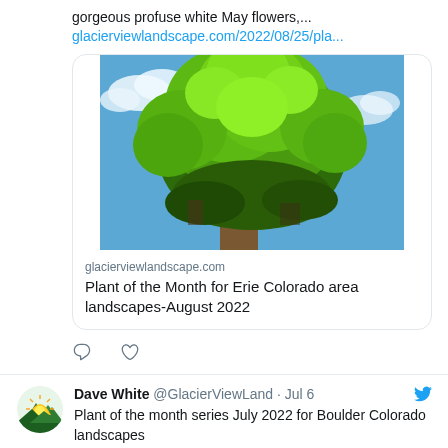gorgeous profuse white May flowers,...
glacierviewlandscape.com/2022/08/25/pla...
[Figure (photo): A large, lush green tree with dense foliage against a blue sky with clouds]
glacierviewlandscape.com
Plant of the Month for Erie Colorado area landscapes-August 2022
[Figure (other): Comment icon (speech bubble outline)]
[Figure (other): Like icon (heart outline)]
[Figure (logo): Glacier View Landscape logo: green/yellow sun rising over mountains]
Dave White @GlacierViewLand · Jul 6
Plant of the month series July 2022 for Boulder Colorado landscapes
July 7 by Sar...